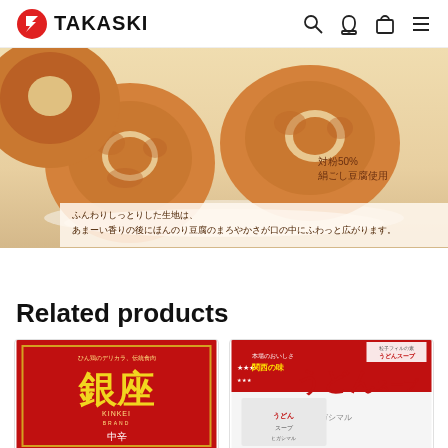TAKASKI
[Figure (photo): Tofu donuts product photo with Japanese text overlay: ふんわりしっとりした生地は、あまーい香りの後にほんのり豆腐のまろやかさが口の中にふわっと広がります。 and 対粉50% 絹ごし豆腐使用]
Related products
[Figure (photo): Product card: 銀座 KINKEI BRAND 中辛 (red box, Japanese curry product)]
[Figure (photo): Product card: うどんスープ - 本場のおいしさ 関西の味 (udon soup box)]